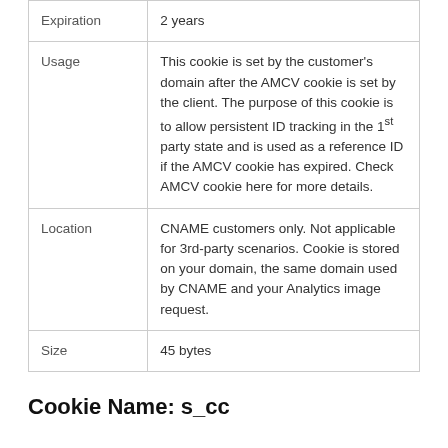| Expiration | 2 years |
| Usage | This cookie is set by the customer's domain after the AMCV cookie is set by the client. The purpose of this cookie is to allow persistent ID tracking in the 1st party state and is used as a reference ID if the AMCV cookie has expired. Check AMCV cookie here for more details. |
| Location | CNAME customers only. Not applicable for 3rd-party scenarios. Cookie is stored on your domain, the same domain used by CNAME and your Analytics image request. |
| Size | 45 bytes |
Cookie Name: s_cc